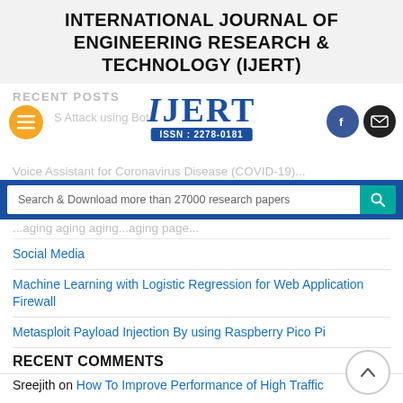INTERNATIONAL JOURNAL OF ENGINEERING RESEARCH & TECHNOLOGY (IJERT)
RECENT POSTS
[Figure (logo): IJERT logo with blue stylized letters and ISSN: 2278-0181 badge]
Search & Download more than 27000 research papers
Social Media
Machine Learning with Logistic Regression for Web Application Firewall
Metasploit Payload Injection By using Raspberry Pico Pi
RECENT COMMENTS
Sreejith on How To Improve Performance of High Traffic